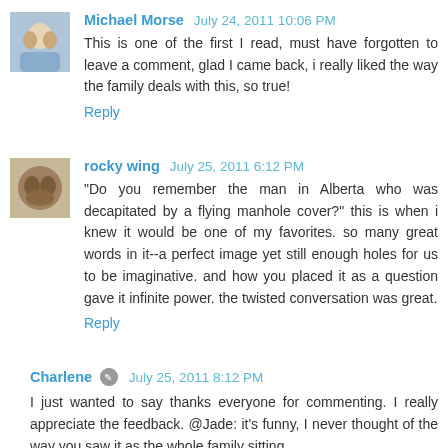Michael Morse  July 24, 2011 10:06 PM
This is one of the first I read, must have forgotten to leave a comment, glad I came back, i really liked the way the family deals with this, so true!
Reply
rocky wing  July 25, 2011 6:12 PM
"Do you remember the man in Alberta who was decapitated by a flying manhole cover?" this is when i knew it would be one of my favorites. so many great words in it--a perfect image yet still enough holes for us to be imaginative. and how you placed it as a question gave it infinite power. the twisted conversation was great.
Reply
Charlene  July 25, 2011 8:12 PM
I just wanted to say thanks everyone for commenting. I really appreciate the feedback. @Jade: it's funny, I never thought of the way you saw it as the whole family sitting